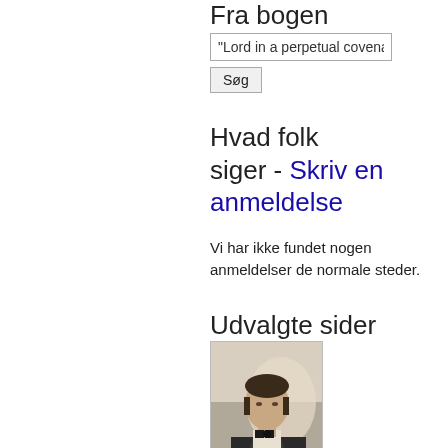Fra bogen
"Lord in a perpetual covena
Søg
Hvad folk siger - Skriv en anmeldelse
Vi har ikke fundet nogen anmeldelser de normale steder.
Udvalgte sider
[Figure (photo): Portrait photograph of a man in 19th century attire, shown from chest up, wearing a dark coat and white collar/cravat.]